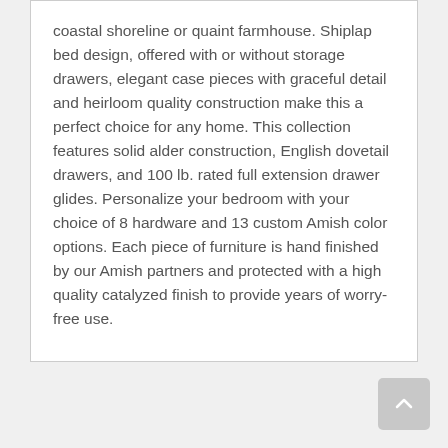coastal shoreline or quaint farmhouse. Shiplap bed design, offered with or without storage drawers, elegant case pieces with graceful detail and heirloom quality construction make this a perfect choice for any home. This collection features solid alder construction, English dovetail drawers, and 100 lb. rated full extension drawer glides. Personalize your bedroom with your choice of 8 hardware and 13 custom Amish color options. Each piece of furniture is hand finished by our Amish partners and protected with a high quality catalyzed finish to provide years of worry-free use.